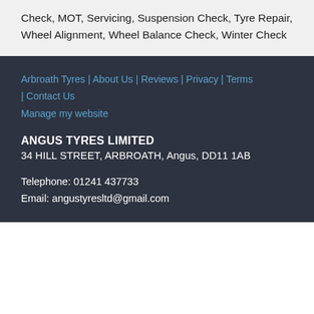Check, MOT, Servicing, Suspension Check, Tyre Repair, Wheel Alignment, Wheel Balance Check, Winter Check
Arbroath Tyres | About Us | Reviews | Privacy | Terms | Contact Us
Manage my website
ANGUS TYRES LIMITED
34 HILL STREET, ARBROATH, Angus, DD11 1AB
Telephone: 01241 437733
Email: angustyresltd@gmail.com